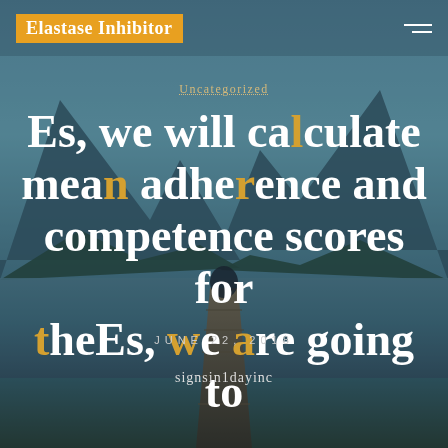Elastase Inhibitor
Uncategorized
Es, we will calculate mean adherence and competence scores for theEs, we are going to
JUNE 22, 2018
signsin1dayinc